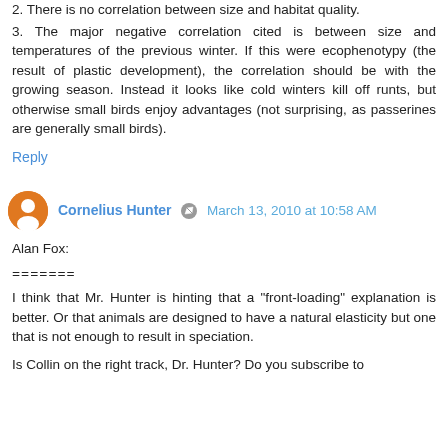2. There is no correlation between size and habitat quality.
3. The major negative correlation cited is between size and temperatures of the previous winter. If this were ecophenotypy (the result of plastic development), the correlation should be with the growing season. Instead it looks like cold winters kill off runts, but otherwise small birds enjoy advantages (not surprising, as passerines are generally small birds).
Reply
Cornelius Hunter  March 13, 2010 at 10:58 AM
Alan Fox:
=======
I think that Mr. Hunter is hinting that a "front-loading" explanation is better. Or that animals are designed to have a natural elasticity but one that is not enough to result in speciation.
Is Collin on the right track, Dr. Hunter? Do you subscribe to